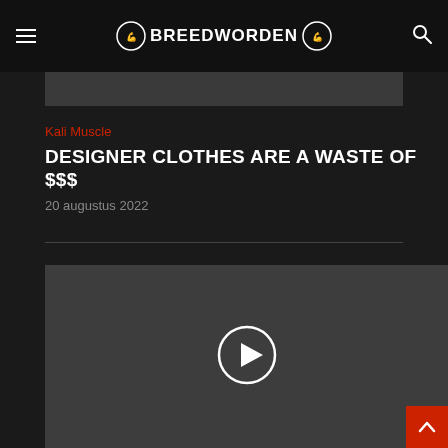BREEDWORDEN
[Figure (screenshot): Dark gray image strip at top of article]
Kali Muscle
DESIGNER CLOTHES ARE A WASTE OF $$$
20 augustus 2022
[Figure (screenshot): Video player with play button on dark background]